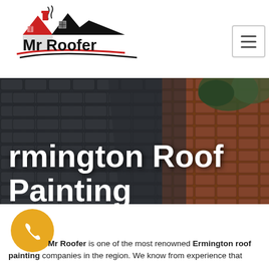[Figure (logo): Mr Roofer logo with two house silhouettes — one red with chimney and window, one black — above the text 'Mr Roofer' in bold, with red and black swoosh lines underneath]
[Figure (other): Navigation menu hamburger button (three horizontal lines) in a bordered square box]
[Figure (photo): Hero banner photograph showing dark grey painted roof tiles on the left and terracotta/red roof tiles on the right with trees in background]
rmington Roof Painting
[Figure (other): Yellow circular phone/call button icon]
Mr Roofer is one of the most renowned Ermington roof painting companies in the region. We know from experience that